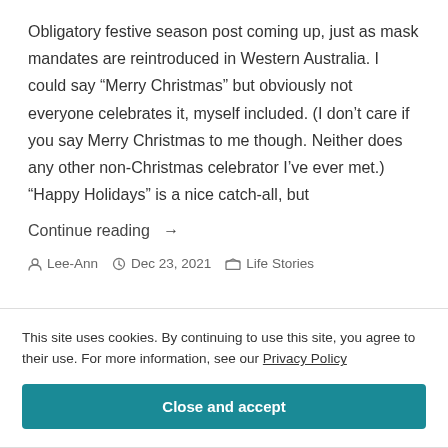Obligatory festive season post coming up, just as mask mandates are reintroduced in Western Australia. I could say “Merry Christmas” but obviously not everyone celebrates it, myself included. (I don’t care if you say Merry Christmas to me though. Neither does any other non-Christmas celebrator I’ve ever met.) “Happy Holidays” is a nice catch-all, but
Continue reading →
Lee-Ann   Dec 23, 2021   Life Stories
This site uses cookies. By continuing to use this site, you agree to their use. For more information, see our Privacy Policy
Close and accept